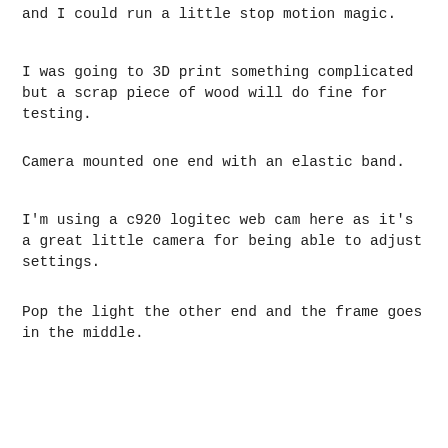and I could run a little stop motion magic.
I was going to 3D print something complicated but a scrap piece of wood will do fine for testing.
Camera mounted one end with an elastic band.
I'm using a c920 logitec web cam here as it's a great little camera for being able to adjust settings.
Pop the light the other end and the frame goes in the middle.